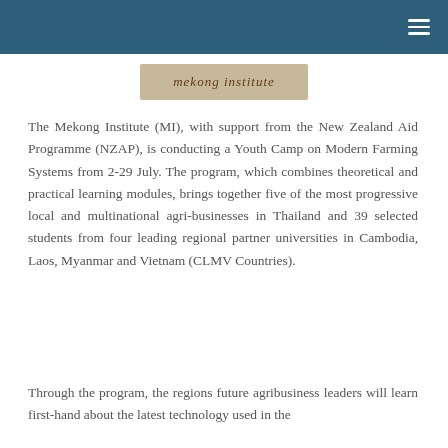[Figure (logo): Mekong Institute logo with stylized text]
The Mekong Institute (MI), with support from the New Zealand Aid Programme (NZAP), is conducting a Youth Camp on Modern Farming Systems from 2-29 July. The program, which combines theoretical and practical learning modules, brings together five of the most progressive local and multinational agri-businesses in Thailand and 39 selected students from four leading regional partner universities in Cambodia, Laos, Myanmar and Vietnam (CLMV Countries).
Through the program, the regions future agribusiness leaders will learn first-hand about the latest technology used in the